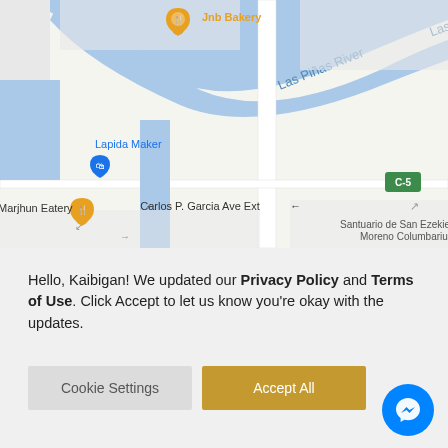[Figure (map): Google Maps screenshot showing Las Piñas River area with markers for Jnb Bakery, Lapida Maker, and Marjhun Eatery. Shows Carlos P. Garcia Ave Ext street and Santuario de San Ezekiel Moreno Columbarium. Road C-5 visible on right side.]
Hello, Kaibigan! We updated our Privacy Policy and Terms of Use. Click Accept to let us know you're okay with the updates.
Cookie Settings
Accept All